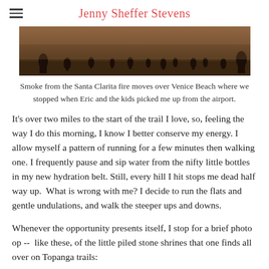Jenny Sheffer Stevens
[Figure (photo): Dark beach scene with smoke haze, silhouettes of people on Venice Beach]
Smoke from the Santa Clarita fire moves over Venice Beach where we stopped when Eric and the kids picked me up from the airport.
It's over two miles to the start of the trail I love, so, feeling the way I do this morning, I know I better conserve my energy. I allow myself a pattern of running for a few minutes then walking one. I frequently pause and sip water from the nifty little bottles in my new hydration belt. Still, every hill I hit stops me dead half way up.  What is wrong with me? I decide to run the flats and gentle undulations, and walk the steeper ups and downs.
Whenever the opportunity presents itself, I stop for a brief photo op --  like these, of the little piled stone shrines that one finds all over on Topanga trails: